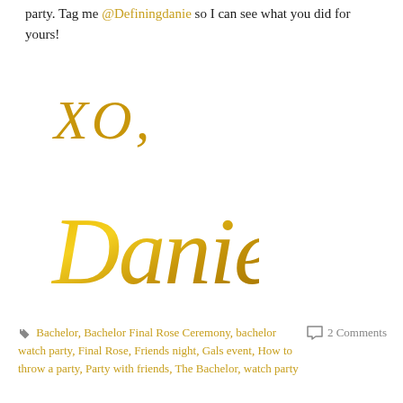I hope this post inspires you to throw your ultimate Bachelor Watch party. Tag me @Definingdanie so I can see what you did for yours!
XO,
[Figure (illustration): Gold glitter cursive signature reading 'Danie']
Bachelor, Bachelor Final Rose Ceremony, bachelor watch party, Final Rose, Friends night, Gals event, How to throw a party, Party with friends, The Bachelor, watch party
2 Comments